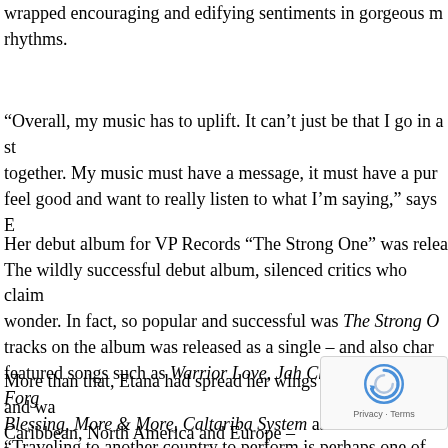wrapped encouraging and edifying sentiments in gorgeous m rhythms.
“Overall, my music has to uplift. It can’t just be that I go in a st together. My music must have a message, it must have a pur feel good and want to really listen to what I’m saying,” says E
Her debut album for VP Records “The Strong One” was relea The wildly successful debut album, silenced critics who claim wonder. In fact, so popular and successful was The Strong O tracks on the album was released as a single – and also char featured songs such as Warrior Love, Jah Chariot, Don’t Forg Blessing, More & More, Caltariba System as well as her first t Address.
More than that, Etana had spread her wings and wa Caribbean, North America and Europe – and it was
“Traveling to another country to perform is perhaps one of the